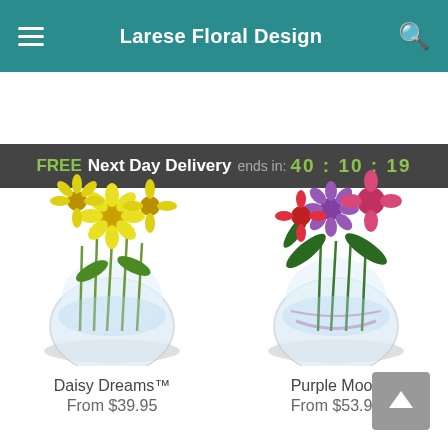Larese Floral Design
FREE Next Day Delivery ends in: 40 : 10 : 19
[Figure (photo): Yellow daisy bouquet in a round glass vase]
Daisy Dreams™
From $39.95
[Figure (photo): Purple and pink flower bouquet in a round glass vase with lavender ribbon]
Purple Moon
From $53.95